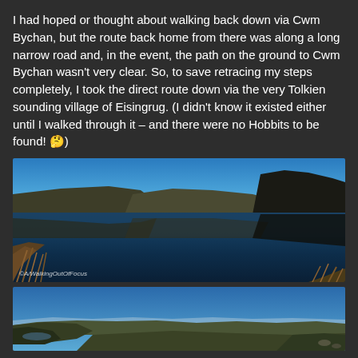I had hoped or thought about walking back down via Cwm Bychan, but the route back home from there was along a long narrow road and, in the event, the path on the ground to Cwm Bychan wasn't very clear. So, to save retracing my steps completely, I took the direct route down via the very Tolkien sounding village of Eisingrug. (I didn't know it existed either until I walked through it – and there were no Hobbits to be found! 🤔)
[Figure (photo): Panoramic photo of a still mountain lake reflecting blue sky and surrounding hills/moorland, with tall brown grasses in the foreground. Watermark reads ©A/WalkingOutOfFocus in bottom left.]
[Figure (photo): Panoramic landscape photo showing rolling moorland hills under a clear blue sky, with distant views of mountains and water on the horizon.]